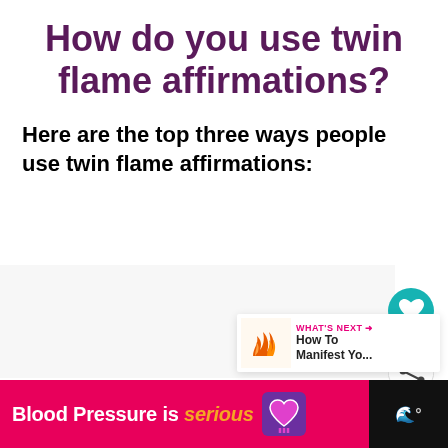How do you use twin flame affirmations?
Here are the top three ways people use twin flame affirmations:
[Figure (screenshot): Gray content area placeholder below the body text, with UI buttons: a teal heart button and a white share button (circular), and a 'What's Next' card showing a flame icon and 'How To Manifest Yo...' text]
Blood Pressure is serious [heart icon ad] | WWF logo